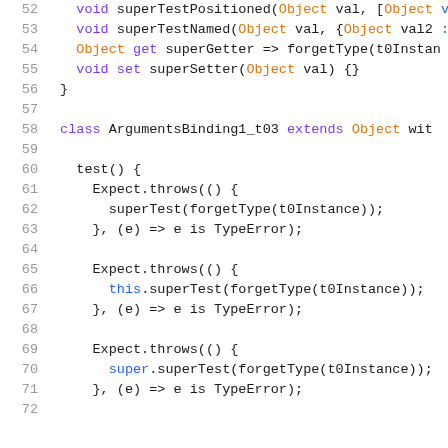[Figure (screenshot): Source code screenshot showing Dart/JavaScript code with line numbers 52-72. Lines show class methods superTestPositioned, superTestNamed, superGetter, superSetter, closing brace, blank line, class ArgumentsBinding1_t03 extends Object with, blank, test() block with three Expect.throws blocks testing superTest, this.superTest, and super.superTest with forgetType(t0Instance) argument and TypeError check.]